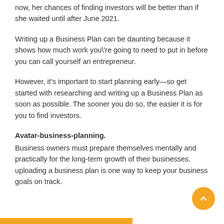now, her chances of finding investors will be better than if she waited until after June 2021.
Writing up a Business Plan can be daunting because it shows how much work you\'re going to need to put in before you can call yourself an entrepreneur.
However, it’s important to start planning early—so get started with researching and writing up a Business Plan as soon as possible. The sooner you do so, the easier it is for you to find investors.
Avatar-business-planning.
Business owners must prepare themselves mentally and practically for the long-term growth of their businesses. uploading a business plan is one way to keep your business goals on track.